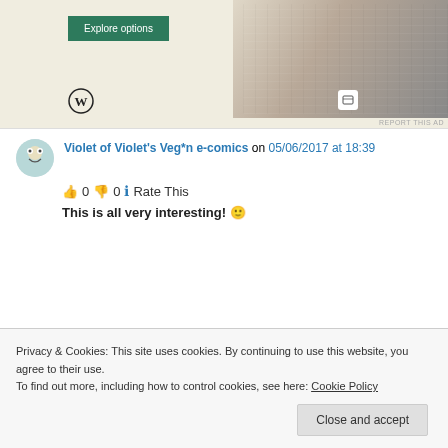[Figure (screenshot): Advertisement banner with green 'Explore options' button and food/restaurant website images on right, WordPress logo bottom left, 'REPORT THIS AD' text bottom right]
Violet of Violet's Veg*n e-comics on 05/06/2017 at 18:39
👍 0 👎 0 ℹ Rate This
This is all very interesting! 🙂
Privacy & Cookies: This site uses cookies. By continuing to use this website, you agree to their use.
To find out more, including how to control cookies, see here: Cookie Policy
Close and accept
Didis Art Design on 06/06/2017 at 04:08